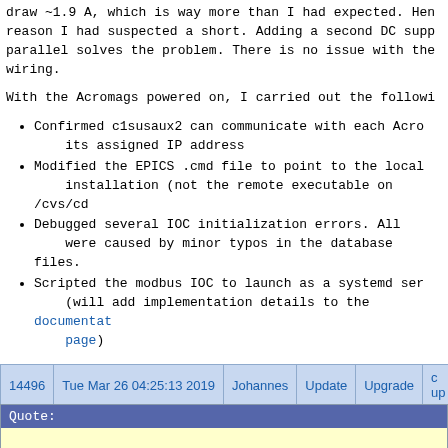draw ~1.9 A, which is way more than I had expected. Hence the reason I had suspected a short. Adding a second DC supply in parallel solves the problem. There is no issue with the wiring.
With the Acromags powered on, I carried out the following:
Confirmed c1susaux2 can communicate with each Acromag at its assigned IP address
Modified the EPICS .cmd file to point to the local installation (not the remote executable on /cvs/cd...
Debugged several IOC initialization errors. All were caused by minor typos in the database files.
Scripted the modbus IOC to launch as a systemd service (will add implementation details to the documentation page)
The modbusIOC is now running as a peristent system service which is automatically launched on boot and relaunched on crash. I'm able to access a random selection of channels via caget.
What's left now is to finish the Acromag-to-feedthrough wiring, then test/calibrate each channel.
| ID | Date | User | Type | Category |  |
| --- | --- | --- | --- | --- | --- |
| 14496 | Tue Mar 26 04:25:13 2019 | Johannes | Update | Upgrade | ... |
Quote: